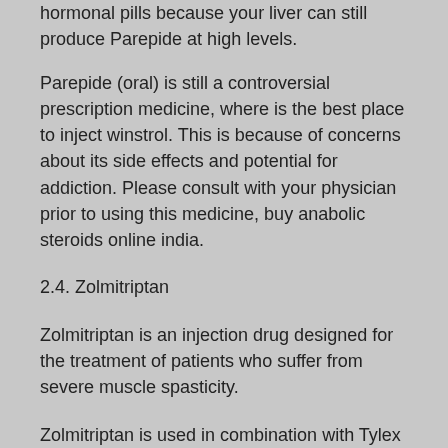hormonal pills because your liver can still produce Parepide at high levels.
Parepide (oral) is still a controversial prescription medicine, where is the best place to inject winstrol. This is because of concerns about its side effects and potential for addiction. Please consult with your physician prior to using this medicine, buy anabolic steroids online india.
2.4. Zolmitriptan
Zolmitriptan is an injection drug designed for the treatment of patients who suffer from severe muscle spasticity.
Zolmitriptan is used in combination with Tylex (tranexamic acid), which may cause dizziness or drowsiness, which it has also been used in combination with Zolpidem (Ambion).